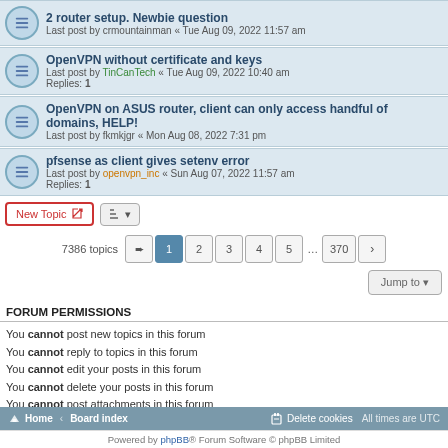2 router setup. Newbie question — Last post by crmountainman « Tue Aug 09, 2022 11:57 am
OpenVPN without certificate and keys — Last post by TinCanTech « Tue Aug 09, 2022 10:40 am — Replies: 1
OpenVPN on ASUS router, client can only access handful of domains, HELP! — Last post by fkmkjgr « Mon Aug 08, 2022 7:31 pm
pfsense as client gives setenv error — Last post by openvpn_inc « Sun Aug 07, 2022 11:57 am — Replies: 1
7386 topics  1 2 3 4 5 … 370
FORUM PERMISSIONS
You cannot post new topics in this forum
You cannot reply to topics in this forum
You cannot edit your posts in this forum
You cannot delete your posts in this forum
You cannot post attachments in this forum
Home · Board index   Delete cookies  All times are UTC
Powered by phpBB® Forum Software © phpBB Limited